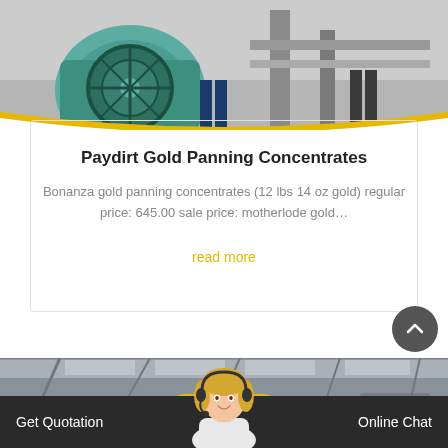[Figure (photo): Industrial machinery scene — close-up of green/teal mining or processing equipment with workers' legs visible, shot in outdoor industrial setting]
Paydirt Gold Panning Concentrates
Bonanza gold panning concentrates (12 lbs 14 oz gold) regular price: 645.00 sale price: motherlode gold…
read more
[Figure (photo): Industrial warehouse or factory interior with high ceiling and structural supports, blurred background]
Get Quotation
[Figure (photo): Customer support representative — blonde woman wearing headset]
Online Chat